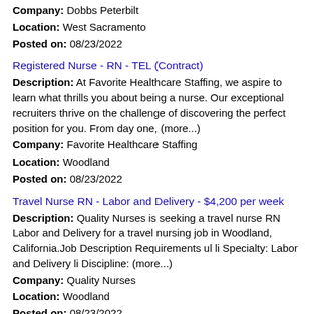Company: Dobbs Peterbilt
Location: West Sacramento
Posted on: 08/23/2022
Registered Nurse - RN - TEL (Contract)
Description: At Favorite Healthcare Staffing, we aspire to learn what thrills you about being a nurse. Our exceptional recruiters thrive on the challenge of discovering the perfect position for you. From day one, (more...)
Company: Favorite Healthcare Staffing
Location: Woodland
Posted on: 08/23/2022
Travel Nurse RN - Labor and Delivery - $4,200 per week
Description: Quality Nurses is seeking a travel nurse RN Labor and Delivery for a travel nursing job in Woodland, California.Job Description Requirements ul li Specialty: Labor and Delivery li Discipline: (more...)
Company: Quality Nurses
Location: Woodland
Posted on: 08/23/2022
Rural Development Specialist -Self-Help Housing $ 63,937 - $79,699